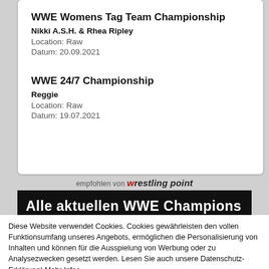WWE Womens Tag Team Championship
Nikki A.S.H. & Rhea Ripley
Location: Raw
Datum: 20.09.2021
WWE 24/7 Championship
Reggie
Location: Raw
Datum: 19.07.2021
[Figure (screenshot): empfohlen von wrestling point banner with black background showing 'Alle aktuellen WWE Champions']
Diese Website verwendet Cookies. Cookies gewährleisten den vollen Funktionsumfang unseres Angebots, ermöglichen die Personalisierung von Inhalten und können für die Ausspielung von Werbung oder zu Analysezwecken gesetzt werden. Lesen Sie auch unsere Datenschutz-Erklärung! Mehr Infos.
OK